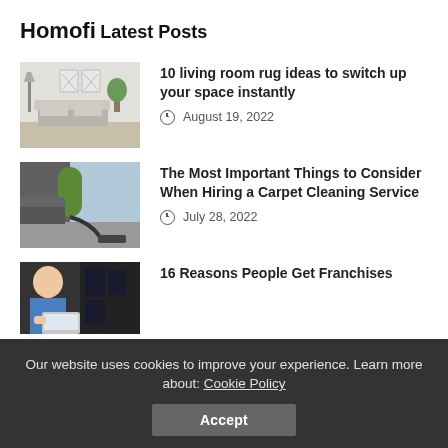Homofi
Latest Posts
[Figure (photo): Living room interior with sofa, plants, and wall art]
10 living room rug ideas to switch up your space instantly
August 19, 2022
[Figure (photo): Green carpet cleaning vacuum machine on a carpet]
The Most Important Things to Consider When Hiring a Carpet Cleaning Service
July 28, 2022
[Figure (photo): Person working at a computer with equipment in background]
16 Reasons People Get Franchises
Our website uses cookies to improve your experience. Learn more about: Cookie Policy
Accept